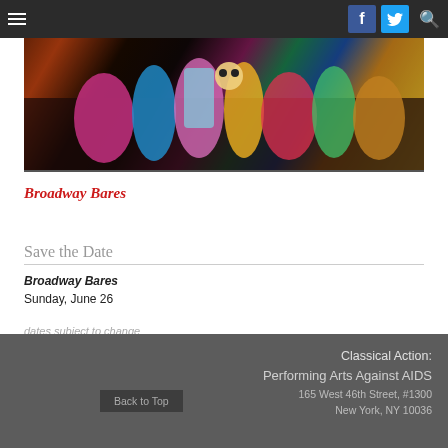Broadway Bares — site navigation header with hamburger menu, Facebook, Twitter, and search icons
[Figure (photo): Colorful costumed performers on stage, photographed in a dark theatrical setting with vivid pinks, blues, greens, and yellows.]
Broadway Bares
Save the Date
Broadway Bares
Sunday, June 26
dates subject to change
Classical Action: Performing Arts Against AIDS
165 West 46th Street, #1300
New York, NY 10036